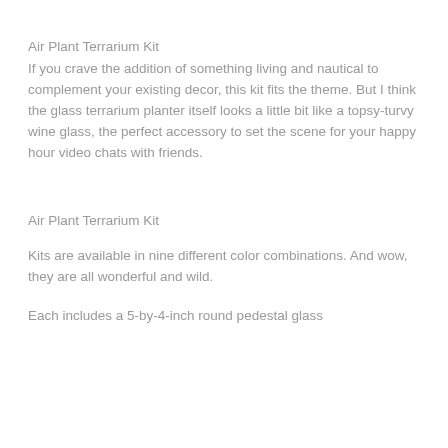Air Plant Terrarium Kit
If you crave the addition of something living and nautical to complement your existing decor, this kit fits the theme. But I think the glass terrarium planter itself looks a little bit like a topsy-turvy wine glass, the perfect accessory to set the scene for your happy hour video chats with friends.
Air Plant Terrarium Kit
Kits are available in nine different color combinations. And wow, they are all wonderful and wild.
Each includes a 5-by-4-inch round pedestal glass